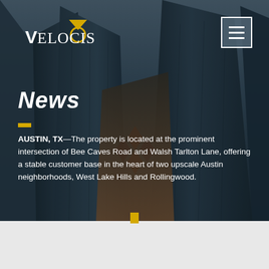[Figure (photo): Dark background photo of tall glass skyscraper buildings photographed from below looking up, with dramatic perspective and dark blue-gray tones]
VELOCIS
News
AUSTIN, TX—The property is located at the prominent intersection of Bee Caves Road and Walsh Tarlton Lane, offering a stable customer base in the heart of two upscale Austin neighborhoods, West Lake Hills and Rollingwood.